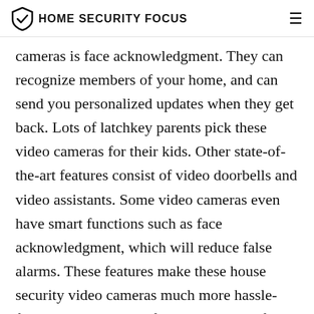HOME SECURITY FOCUS
cameras is face acknowledgment. They can recognize members of your home, and can send you personalized updates when they get back. Lots of latchkey parents pick these video cameras for their kids. Other state-of-the-art features consist of video doorbells and video assistants. Some video cameras even have smart functions such as face acknowledgment, which will reduce false alarms. These features make these house security video cameras much more hassle-free to utilize. Do not forget to pick the finest cam for your requirements.